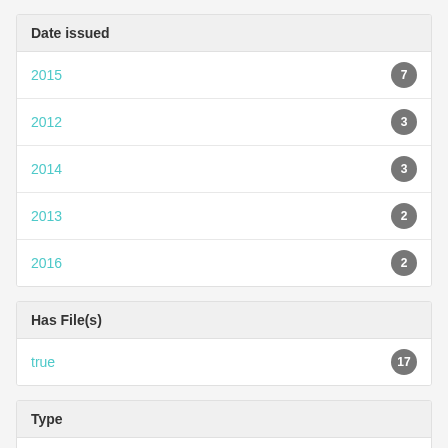Date issued
2015  7
2012  3
2014  3
2013  2
2016  2
Has File(s)
true  17
Type
Journal Article  8